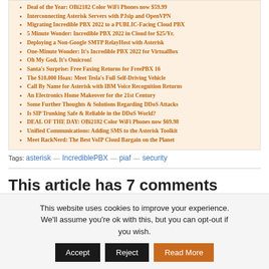Deal of the Year: OBi2182 Color WiFi Phones now $59.99
Interconnecting Asterisk Servers with PJsip and OpenVPN
Migrating Incredible PBX 2022 to a PUBLIC-Facing Cloud PBX
5 Minute Wonder: Incredible PBX 2022 in Cloud for $25/Yr.
Deploying a Non-Google SMTP RelayHost with Asterisk
One-Minute Wonder: It's Incredible PBX 2022 for VirtualBox
Oh My God, It's Omicron!
Santa's Surprise: Free Faxing Returns for FreePBX 16
The $10,000 Hoax: Meet Tesla's Full Self-Driving Vehicle
Call By Name for Asterisk with IBM Voice Recognition Returns
An Electronics Home Makeover for the 21st Century
Some Further Thoughts & Solutions Regarding DDoS Attacks
Is SIP Trunking Safe & Reliable in the DDoS World?
DEAL OF THE DAY: OBi2182 Color WiFi Phones now $69.98
Unified Communications: Adding SMS to the Asterisk Toolkit
Meet RackNerd: The Best VoIP Cloud Bargain on the Planet
Tags: asterisk — IncrediblePBX — piaf — security
This article has 7 comments
This website uses cookies to improve your experience. We'll assume you're ok with this, but you can opt-out if you wish. Accept Reject Read More